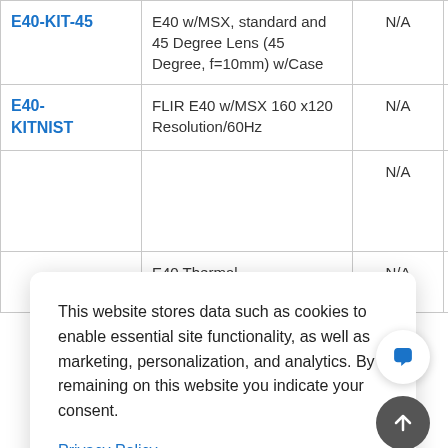| SKU | Description | Price | Status |
| --- | --- | --- | --- |
| E40-KIT-45 | E40 w/MSX, standard and 45 Degree Lens (45 Degree, f=10mm) w/Case | N/A | Discontin |
| E40-KITNIST | FLIR E40 w/MSX 160 x120 Resolution/60Hz | N/A | Discontin |
|  |  | N/A | Discontin |
|  | E40 Thermal | N/A | Di...l |
This website stores data such as cookies to enable essential site functionality, as well as marketing, personalization, and analytics. By remaining on this website you indicate your consent.
Privacy Policy